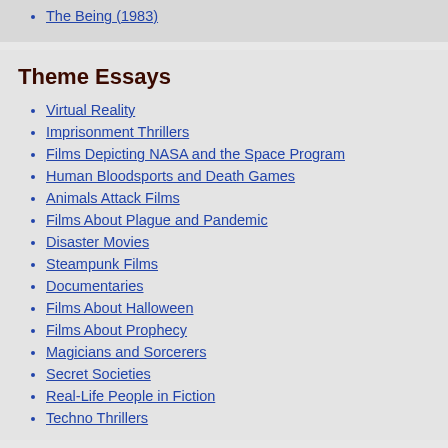The Being (1983)
Theme Essays
Virtual Reality
Imprisonment Thrillers
Films Depicting NASA and the Space Program
Human Bloodsports and Death Games
Animals Attack Films
Films About Plague and Pandemic
Disaster Movies
Steampunk Films
Documentaries
Films About Halloween
Films About Prophecy
Magicians and Sorcerers
Secret Societies
Real-Life People in Fiction
Techno Thrillers